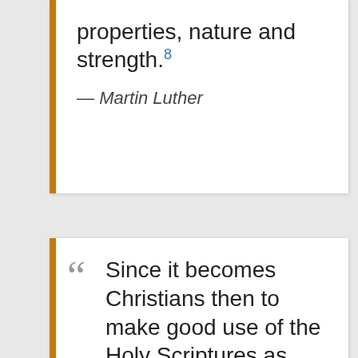properties, nature and strength.8
— Martin Luther
Since it becomes Christians then to make good use of the Holy Scriptures as their one and only book and it is a sin and a shame not to know our own book or to understand the speech and words of our God, it is a still greater sin and loss that we do not study languages, especially in those